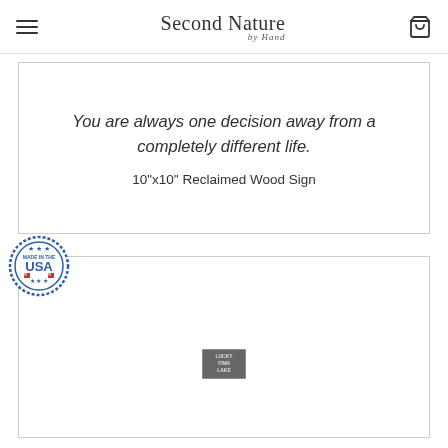Second Nature by Hand — navigation header with hamburger menu and shopping bag icon
You are always one decision away from a completely different life.
10"x10" Reclaimed Wood Sign
[Figure (logo): Made in the USA circular badge stamp with blue border, stars, and red checkered elements]
[Figure (logo): Lucky Finn Lake small rectangular stamp logo]